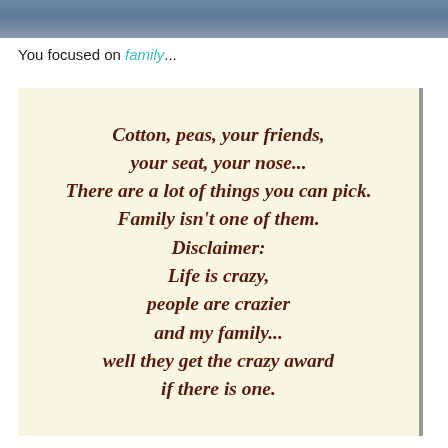[Figure (photo): Partial photo strip at top of page showing clothing/fabric in blue/grey tones]
You focused on family...
[Figure (infographic): Cream/beige background card with bold italic text quote about family and craziness]
Cotton, peas, your friends, your seat, your nose... There are a lot of things you can pick. Family isn't one of them. Disclaimer: Life is crazy, people are crazier and my family... well they get the crazy award if there is one.